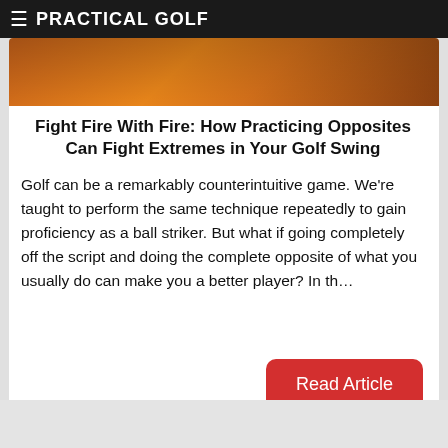≡ PRACTICAL GOLF
[Figure (photo): Partial view of a golf-related image with warm orange/brown tones at top of card]
Fight Fire With Fire: How Practicing Opposites Can Fight Extremes in Your Golf Swing
Golf can be a remarkably counterintuitive game. We're taught to perform the same technique repeatedly to gain proficiency as a ball striker. But what if going completely off the script and doing the complete opposite of what you usually do can make you a better player? In th…
Read Article